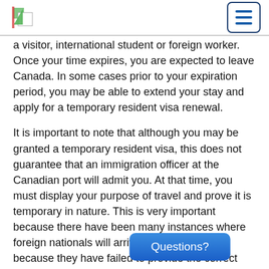[logo] [navigation menu button]
a visitor, international student or foreign worker. Once your time expires, you are expected to leave Canada. In some cases prior to your expiration period, you may be able to extend your stay and apply for a temporary resident visa renewal.
It is important to note that although you may be granted a temporary resident visa, this does not guarantee that an immigration officer at the Canadian port will admit you. At that time, you must display your purpose of travel and prove it is temporary in nature. This is very important because there have been many instances where foreign nationals will arrive in Canada, but because they have failed to provide the correct information, they have been denied admissions by an officer.